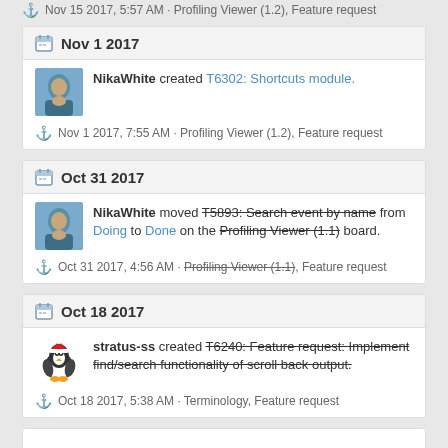Nov 15 2017, 5:57 AM · Profiling Viewer (1.2), Feature request
Nov 1 2017
NikaWhite created T6302: Shortcuts module.
Nov 1 2017, 7:55 AM · Profiling Viewer (1.2), Feature request
Oct 31 2017
NikaWhite moved T5893: Search event by name from Doing to Done on the Profiling Viewer (1.1) board.
Oct 31 2017, 4:56 AM · Profiling Viewer (1.1), Feature request
Oct 18 2017
stratus-ss created T6240: Feature request: Implement find/search functionality of scroll back output.
Oct 18 2017, 5:38 AM · Terminology, Feature request